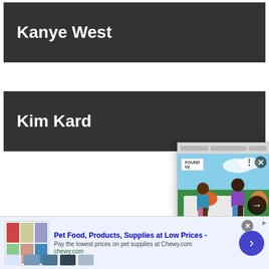Kanye West
Kim Kardashian
What to W...
Who Wor...
Red Carpet Fashion
[Figure (photo): Popup ad showing two people (a man and a woman) sitting on a blanket outdoors on grass with colorful cushions, with caption: Here Are All Of The Products The 'Love Island USA' Cast Can't Stop Talking About! - 2...]
Here Are All Of The Products The 'Love Island USA' Cast Can't Stop Talking About! - 2...
Pet Food, Products, Supplies at Low Prices - Pay the lowest prices on pet supplies at Chewy.com chewy.com